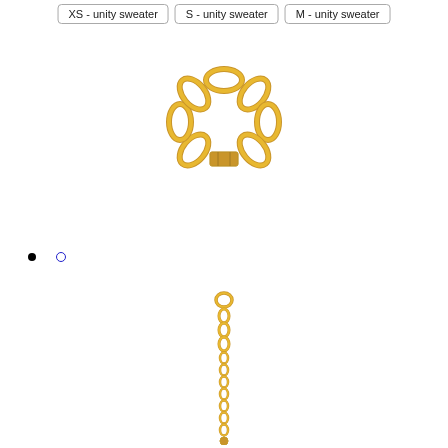XS - unity sweater | S - unity sweater | M - unity sweater
[Figure (photo): Gold chain link bracelet with a rectangular clasp, photographed on white background]
[Figure (photo): Gold chain link drop/pendant, long vertical chain, photographed on white background]